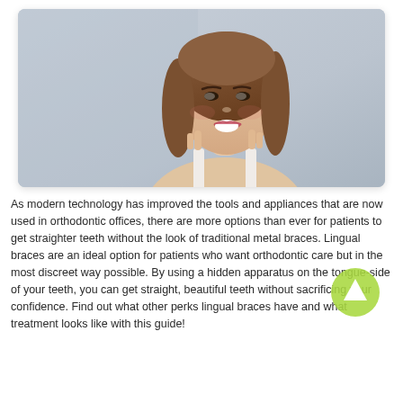[Figure (photo): A smiling young woman with long brown hair pointing at her smile with both index fingers, photographed against a light blue-grey background.]
As modern technology has improved the tools and appliances that are now used in orthodontic offices, there are more options than ever for patients to get straighter teeth without the look of traditional metal braces. Lingual braces are an ideal option for patients who want orthodontic care but in the most discreet way possible. By using a hidden apparatus on the tongue-side of your teeth, you can get straight, beautiful teeth without sacrificing your confidence. Find out what other perks lingual braces have and what treatment looks like with this guide!